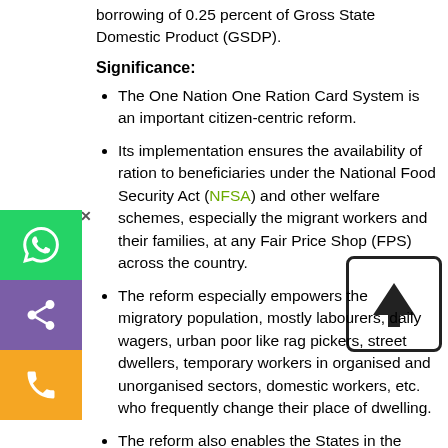borrowing of 0.25 percent of Gross State Domestic Product (GSDP).
Significance:
The One Nation One Ration Card System is an important citizen-centric reform.
Its implementation ensures the availability of ration to beneficiaries under the National Food Security Act (NFSA) and other welfare schemes, especially the migrant workers and their families, at any Fair Price Shop (FPS) across the country.
The reform especially empowers the migratory population, mostly labourers, daily wagers, urban poor like rag pickers, street dwellers, temporary workers in organised and unorganised sectors, domestic workers, etc. who frequently change their place of dwelling.
The reform also enables the States in the better targeting of beneficiaries, elimination of bogus/duplicate/ineligible cardholders resulting in enhanced welfare and reduced leakage.
Know more about the One Nation One Ration Card